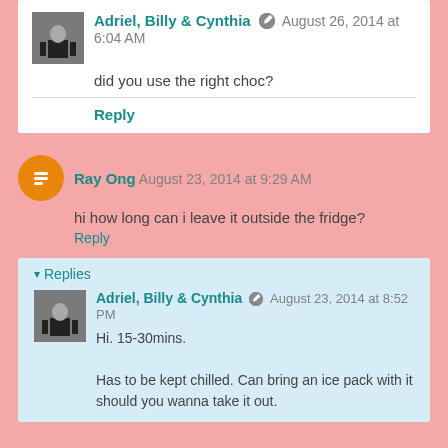Adriel, Billy & Cynthia · August 26, 2014 at 6:04 AM
did you use the right choc?
Reply
Ray Ong · August 23, 2014 at 9:29 AM
hi how long can i leave it outside the fridge?
Reply
Replies
Adriel, Billy & Cynthia · August 23, 2014 at 8:52 PM
Hi. 15-30mins.

Has to be kept chilled. Can bring an ice pack with it should you wanna take it out.